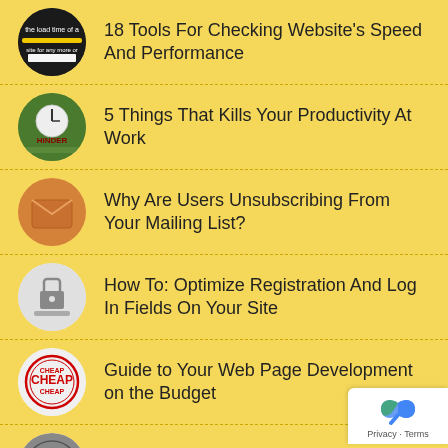18 Tools For Checking Website's Speed And Performance
5 Things That Kills Your Productivity At Work
Why Are Users Unsubscribing From Your Mailing List?
How To: Optimize Registration And Log In Fields On Your Site
Guide to Your Web Page Development on the Budget
WordPress Weight Loss Diet